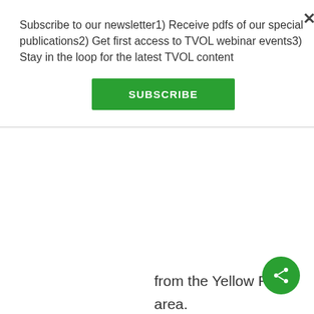Subscribe to our newsletter1) Receive pdfs of our special publications2) Get first access to TVOL webinar events3) Stay in the loop for the latest TVOL content
SUBSCRIBE
from the Yellow River area.

So, they were grinding seeds ten millennia before agriculture, during the ice age.
http://phys.org/news/2